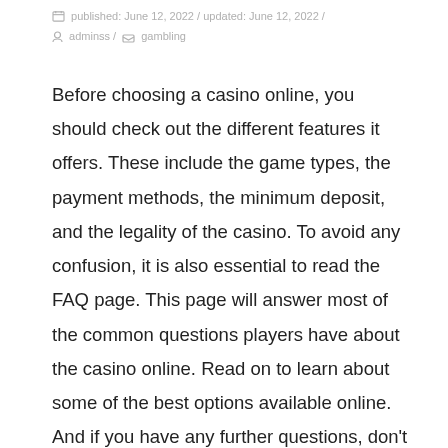published: June 12, 2022 / updated: June 12, 2022 / adminss / gambling
Before choosing a casino online, you should check out the different features it offers. These include the game types, the payment methods, the minimum deposit, and the legality of the casino. To avoid any confusion, it is also essential to read the FAQ page. This page will answer most of the common questions players have about the casino online. Read on to learn about some of the best options available online. And if you have any further questions, don't hesitate to ask away!